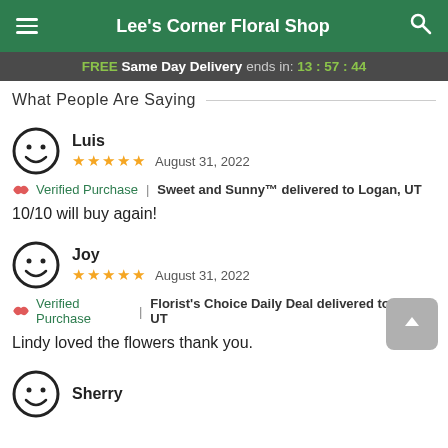Lee's Corner Floral Shop
FREE Same Day Delivery ends in: 13:57:44
What People Are Saying
Luis
★★★★★ August 31, 2022
🌸 Verified Purchase | Sweet and Sunny™ delivered to Logan, UT
10/10 will buy again!
Joy
★★★★★ August 31, 2022
🌸 Verified Purchase | Florist's Choice Daily Deal delivered to Logan, UT
Lindy loved the flowers thank you.
Sherry